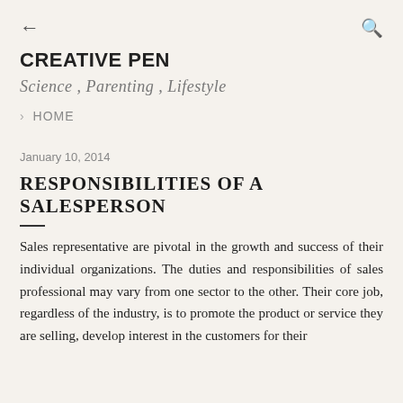← CREATIVE PEN
Science , Parenting , Lifestyle
‹ HOME
January 10, 2014
RESPONSIBILITIES OF A SALESPERSON
Sales representative are pivotal in the growth and success of their individual organizations. The duties and responsibilities of sales professional may vary from one sector to the other. Their core job, regardless of the industry, is to promote the product or service they are selling, develop interest in the customers for their